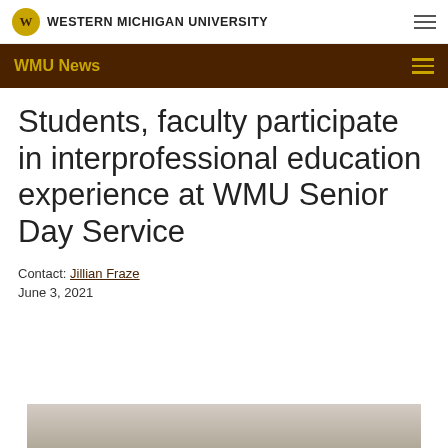Western Michigan University
WMU News
Students, faculty participate in interprofessional education experience at WMU Senior Day Service
Contact: Jillian Fraze
June 3, 2021
[Figure (photo): Photo of a room with ceiling lights, partially visible at bottom of page]